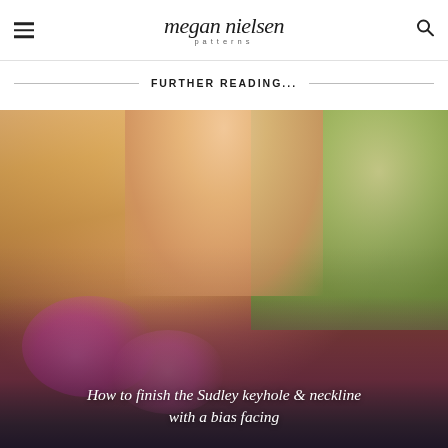megan nielsen patterns
FURTHER READING...
[Figure (photo): Close-up photo of a woman with blond hair wearing a pink and blue floral blouse, photographed outdoors with green foliage in the background. An overlay text at the bottom reads: How to finish the Sudley keyhole & neckline with a bias facing]
How to finish the Sudley keyhole & neckline with a bias facing